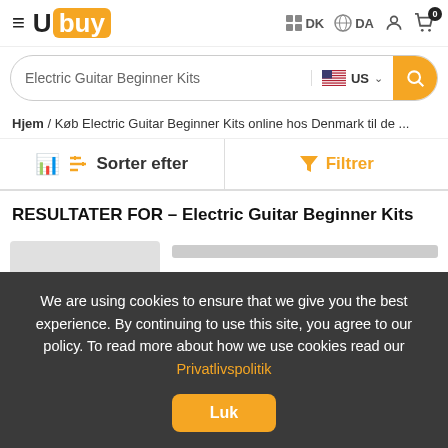Ubuy — DK DA — Cart 0
Electric Guitar Beginner Kits — US search bar
Hjem / Køb Electric Guitar Beginner Kits online hos Denmark til de ...
Sorter efter | Filtrer
RESULTATER FOR - Electric Guitar Beginner Kits
[Figure (screenshot): Partially loaded product card with gray image placeholder and gray content placeholders]
We are using cookies to ensure that we give you the best experience. By continuing to use this site, you agree to our policy. To read more about how we use cookies read our Privatlivspolitik
Luk